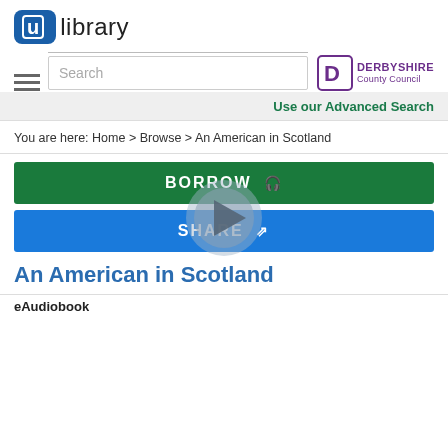[Figure (logo): ulibrary logo with blue rounded rectangle containing 'u' and 'library' text]
[Figure (logo): Derbyshire County Council logo with purple D icon and text]
Search
Use our Advanced Search
You are here: Home > Browse > An American in Scotland
BORROW
SHARE
An American in Scotland
eAudiobook